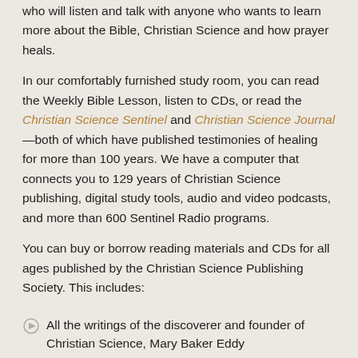who will listen and talk with anyone who wants to learn more about the Bible, Christian Science and how prayer heals.
In our comfortably furnished study room, you can read the Weekly Bible Lesson, listen to CDs, or read the Christian Science Sentinel and Christian Science Journal—both of which have published testimonies of healing for more than 100 years. We have a computer that connects you to 129 years of Christian Science publishing, digital study tools, audio and video podcasts, and more than 600 Sentinel Radio programs.
You can buy or borrow reading materials and CDs for all ages published by the Christian Science Publishing Society. This includes:
All the writings of the discoverer and founder of Christian Science, Mary Baker Eddy
Bibles and Bible study books